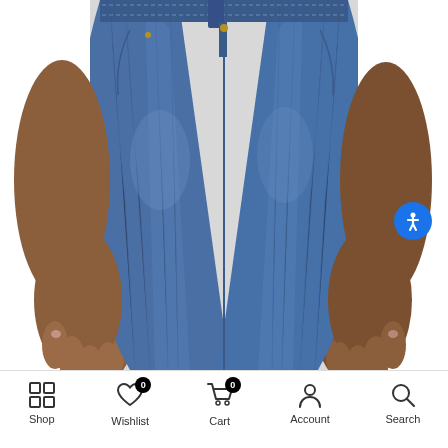[Figure (photo): Close-up photo of a person wearing blue denim skinny jeans, showing from waist to knees, with hands visible on each side. An accessibility icon button (blue circle with white person symbol) is visible in the upper right area of the photo.]
Shop | Wishlist (0) | Cart (0) | Account | Search